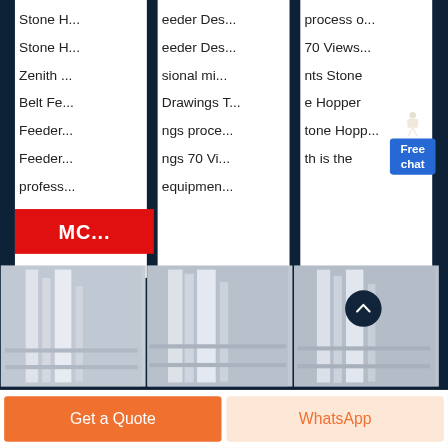Stone H... Feeder Des... process o...
Stone H... Feeder Des... 70 Views...
Zenith ... sional mi... nts Stone
Belt Fe... Drawings T... e Hopper
Feeder... ngs proce... tone Hopp...
Feeder... ngs 70 Vi... th is the
profess... equipmen...
MC (More button)
[Figure (photo): Industrial equipment / conveyor structure photos in three columns]
Get a Quote
WhatsApp